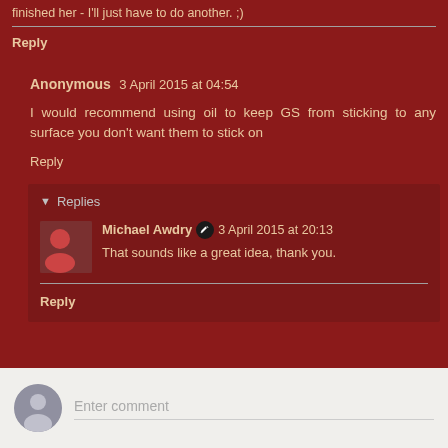finished her - I'll just have to do another. ;)
Reply
Anonymous 3 April 2015 at 04:54
I would recommend using oil to keep GS from sticking to any surface you don't want them to stick on
Reply
Replies
Michael Awdry 3 April 2015 at 20:13
That sounds like a great idea, thank you.
Reply
Enter comment